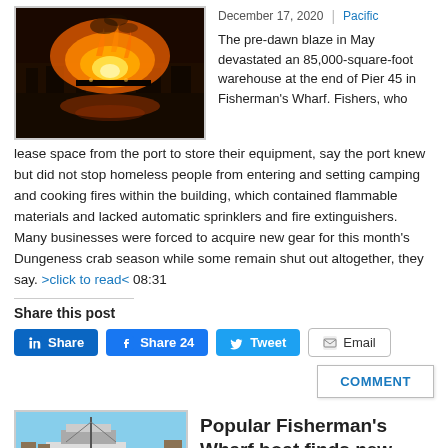[Figure (photo): Night-time fire photograph showing a large blaze at a waterfront warehouse/pier with orange flames and reflections on the water]
December 17, 2020 | Pacific
The pre-dawn blaze in May devastated an 85,000-square-foot warehouse at the end of Pier 45 in Fisherman's Wharf. Fishers, who lease space from the port to store their equipment, say the port knew but did not stop homeless people from entering and setting camping and cooking fires within the building, which contained flammable materials and lacked automatic sprinklers and fire extinguishers. Many businesses were forced to acquire new gear for this month's Dungeness crab season while some remain shut out altogether, they say. >click to read< 08:31
Share this post
Share | Share 24 | Tweet | Email
COMMENT
[Figure (photo): Daytime photo of a boat at Fisherman's Wharf dock area]
Popular Fisherman's Wharf boat finds new home to sell fresh fish...